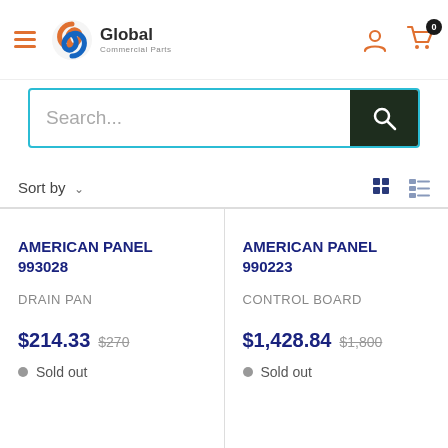[Figure (logo): Global Commercial Parts logo with orange/blue swirl icon and text]
Search...
Sort by
AMERICAN PANEL 993028
DRAIN PAN
$214.33  $270
Sold out
AMERICAN PANEL 990223
CONTROL BOARD
$1,428.84  $1,800
Sold out